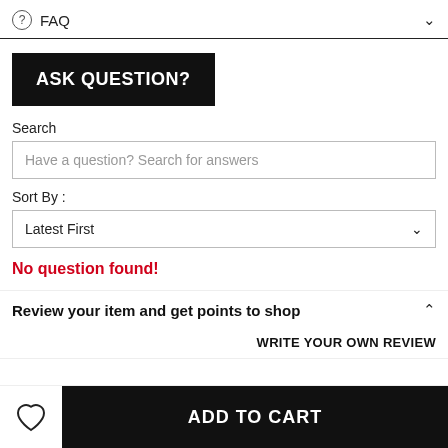FAQ
ASK QUESTION?
Search
Have a question? Search for answers
Sort By :
Latest First
No question found!
Review your item and get points to shop
WRITE YOUR OWN REVIEW
ADD TO CART